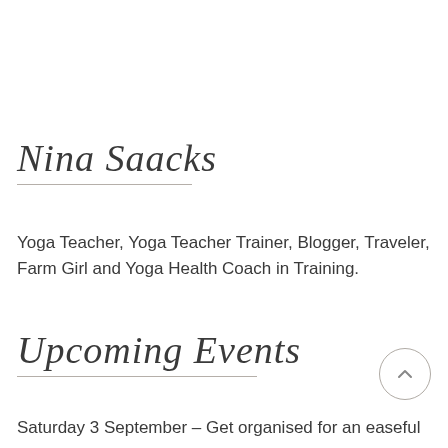Nina Saacks
Yoga Teacher, Yoga Teacher Trainer, Blogger, Traveler, Farm Girl and Yoga Health Coach in Training.
Upcoming Events
Saturday 3 September – Get organised for an easeful